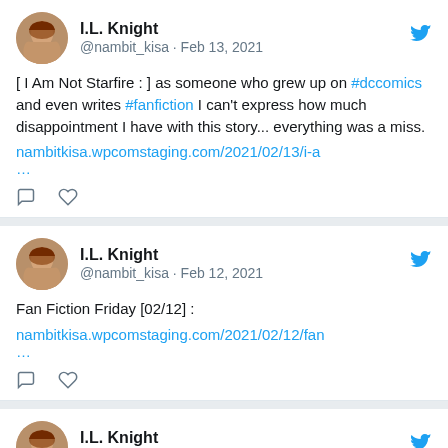I.L. Knight @nambit_kisa · Feb 13, 2021
[ I Am Not Starfire : ] as someone who grew up on #dccomics and even writes #fanfiction I can't express how much disappointment I have with this story... everything was a miss.
nambitkisa.wpcomstaging.com/2021/02/13/i-a
...
I.L. Knight @nambit_kisa · Feb 12, 2021
Fan Fiction Friday [02/12] :
nambitkisa.wpcomstaging.com/2021/02/12/fan
...
I.L. Knight @nambit_kisa · Feb 9, 2021